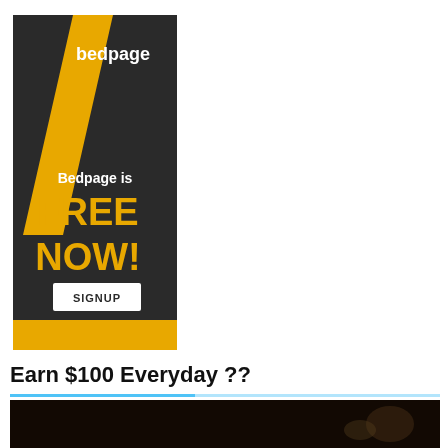[Figure (illustration): Bedpage advertisement banner. Dark/black background with a diagonal yellow stripe. Text reads 'bedpage' at top, 'Bedpage is FREE NOW!' in white and yellow bold text, with a 'SIGNUP' button at the bottom. Bottom strip is yellow.]
Earn $100 Everyday ??
[Figure (photo): Partial photo visible at bottom of page, dark/blurred image.]